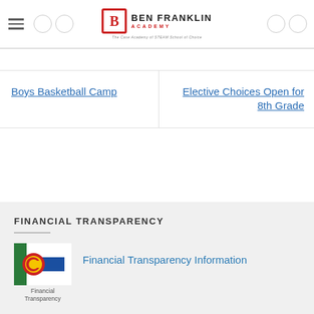[Figure (logo): Ben Franklin Academy school logo with red B icon, BEN FRANKLIN ACADEMY text, and tagline]
Boys Basketball Camp
Elective Choices Open for 8th Grade
FINANCIAL TRANSPARENCY
[Figure (logo): Colorado Financial Transparency logo with state flag and text 'Financial Transparency']
Financial Transparency Information